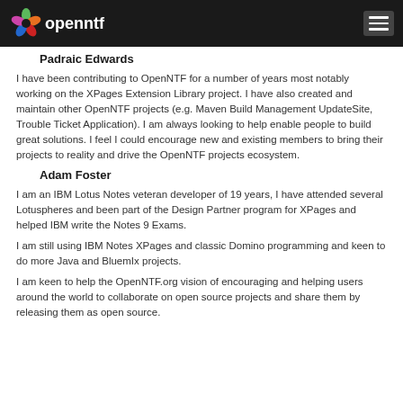openntf
Padraic Edwards
I have been contributing to OpenNTF for a number of years most notably working on the XPages Extension Library project. I have also created and maintain other OpenNTF projects (e.g. Maven Build Management UpdateSite, Trouble Ticket Application). I am always looking to help enable people to build great solutions. I feel I could encourage new and existing members to bring their projects to reality and drive the OpenNTF projects ecosystem.
Adam Foster
I am an IBM Lotus Notes veteran developer of 19 years, I have attended several Lotuspheres and been part of the Design Partner program for XPages and helped IBM write the Notes 9 Exams.
I am still using IBM Notes XPages and classic Domino programming and keen to do more Java and BluemIx projects.
I am keen to help the OpenNTF.org vision of encouraging and helping users around the world to collaborate on open source projects and share them by releasing them as open source.